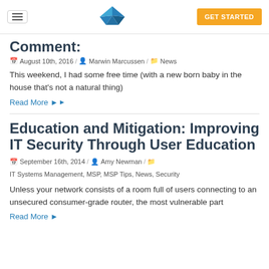Navigation bar with hamburger menu, Kaseya logo, and GET STARTED button
Comment:
August 10th, 2016 / Marwin Marcussen / News
This weekend, I had some free time (with a new born baby in the house that's not a natural thing)
Read More
Education and Mitigation: Improving IT Security Through User Education
September 16th, 2014 / Amy Newman / IT Systems Management, MSP, MSP Tips, News, Security
Unless your network consists of a room full of users connecting to an unsecured consumer-grade router, the most vulnerable part
Read More